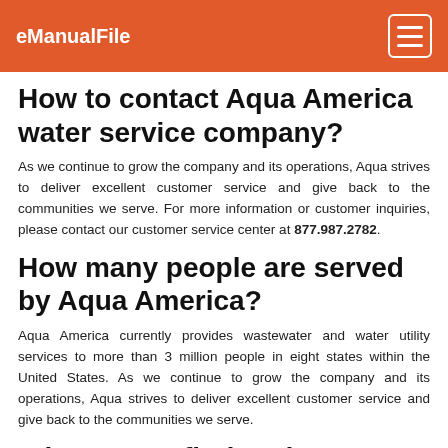eManualFile
How to contact Aqua America water service company?
As we continue to grow the company and its operations, Aqua strives to deliver excellent customer service and give back to the communities we serve. For more information or customer inquiries, please contact our customer service center at 877.987.2782.
How many people are served by Aqua America?
Aqua America currently provides wastewater and water utility services to more than 3 million people in eight states within the United States. As we continue to grow the company and its operations, Aqua strives to deliver excellent customer service and give back to the communities we serve.
Where can I find updates on Aqua covid-19?